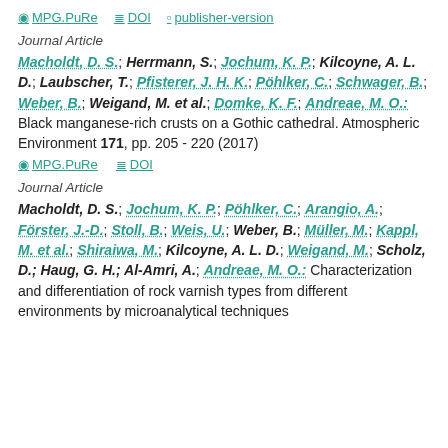MPG.PuRe  DOI  publisher-version
Journal Article
Macholdt, D. S.; Herrmann, S.; Jochum, K. P.; Kilcoyne, A. L. D.; Laubscher, T.; Pfisterer, J. H. K.; Pöhlker, C.; Schwager, B.; Weber, B.; Weigand, M. et al.; Domke, K. F.; Andreae, M. O.: Black manganese-rich crusts on a Gothic cathedral. Atmospheric Environment 171, pp. 205 - 220 (2017)
MPG.PuRe  DOI
Journal Article
Macholdt, D. S.; Jochum, K. P.; Pöhlker, C.; Arangio, A.; Förster, J.-D.; Stoll, B.; Weis, U.; Weber, B.; Müller, M.; Kappl, M. et al.; Shiraiwa, M.; Kilcoyne, A. L. D.; Weigand, M.; Scholz, D.; Haug, G. H.; Al-Amri, A.; Andreae, M. O.: Characterization and differentiation of rock varnish types from different environments by microanalytical techniques